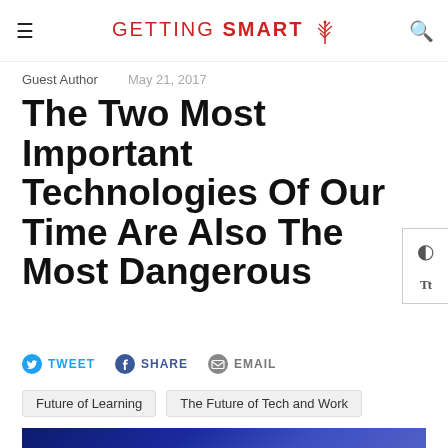GETTING SMART
Guest Author   May 21, 2017
The Two Most Important Technologies Of Our Time Are Also The Most Dangerous
TWEET   SHARE   EMAIL
Future of Learning   The Future of Tech and Work
[Figure (photo): Technology image showing futuristic digital tunnel with blue lighting]